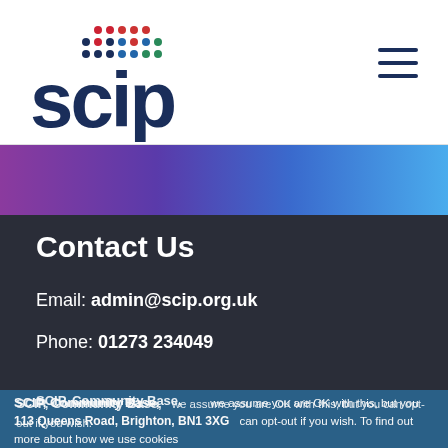[Figure (logo): SCIP logo with colorful dot grid above text]
[Figure (illustration): Purple to blue gradient hero image strip]
Contact Us
Email: admin@scip.org.uk
Phone: 01273 234049
SCIP, Community Base,
113 Queens Road, Brighton, BN1 3XG
we assume you are OK with this, but you can opt-out if you wish. To find out more about how we use cookies and how to manage them, read our privacy and cookie policy.
Ok  Read more
LegMain Support Connectio...